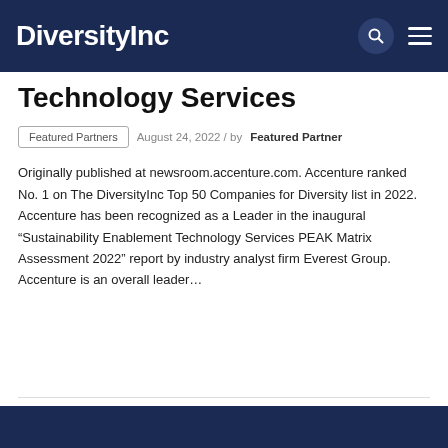DiversityInc
Technology Services
Featured Partners   August 24, 2022 / by Featured Partner
Originally published at newsroom.accenture.com. Accenture ranked No. 1 on The DiversityInc Top 50 Companies for Diversity list in 2022.   Accenture has been recognized as a Leader in the inaugural “Sustainability Enablement Technology Services PEAK Matrix Assessment 2022” report by industry analyst firm Everest Group. Accenture is an overall leader…